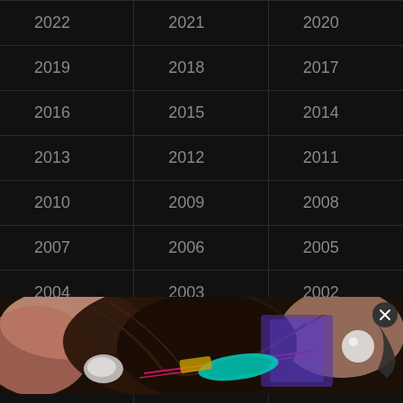| 2022 | 2021 | 2020 |
| 2019 | 2018 | 2017 |
| 2016 | 2015 | 2014 |
| 2013 | 2012 | 2011 |
| 2010 | 2009 | 2008 |
| 2007 | 2006 | 2005 |
| 2004 | 2003 | 2002 |
| 2001 | 2000 | 1999 |
| 1998 | 1997 | 1996 |
| 1995 | 1994 | 1993 |
[Figure (photo): A colorful digital artwork/screenshot showing an anime-style character with flowing dark hair, with cyan and magenta neon elements, a white spherical object, and a close button (X) in the upper right corner.]
| 1986 | 1985 | 1984 |